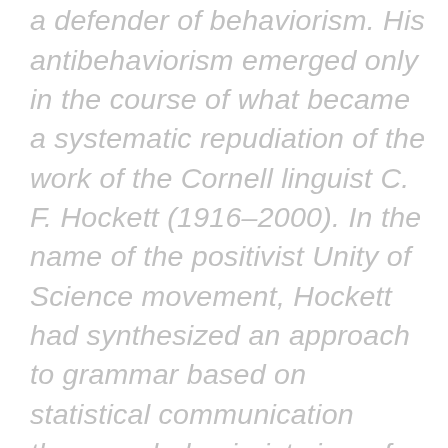approach to grammar, he was a defender of behaviorism. His antibehaviorism emerged only in the course of what became a systematic repudiation of the work of the Cornell linguist C. F. Hockett (1916–2000). In the name of the positivist Unity of Science movement, Hockett had synthesized an approach to grammar based on statistical communication theory; a behaviorist view of language